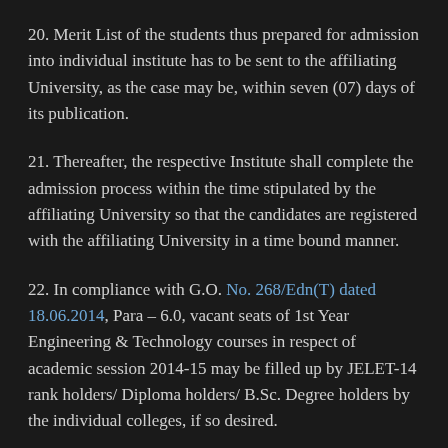20. Merit List of the students thus prepared for admission into individual institute has to be sent to the affiliating University, as the case may be, within seven (07) days of its publication.
21. Thereafter, the respective Institute shall complete the admission process within the time stipulated by the affiliating University so that the candidates are registered with the affiliating University in a time bound manner.
22. In compliance with G.O. No. 268/Edn(T) dated 18.06.2014, Para – 6.0, vacant seats of 1st Year Engineering & Technology courses in respect of academic session 2014-15 may be filled up by JELET-14 rank holders/ Diploma holders/ B.Sc. Degree holders by the individual colleges, if so desired.
23. The West Bengal Free-ship Scheme (WBFS) as contained